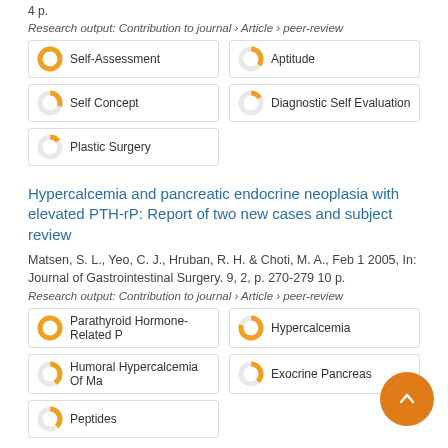4 p.
Research output: Contribution to journal › Article › peer-review
Self-Assessment
Aptitude
Self Concept
Diagnostic Self Evaluation
Plastic Surgery
Hypercalcemia and pancreatic endocrine neoplasia with elevated PTH-rP: Report of two new cases and subject review
Matsen, S. L., Yeo, C. J., Hruban, R. H. & Choti, M. A., Feb 1 2005, In: Journal of Gastrointestinal Surgery. 9, 2, p. 270-279 10 p.
Research output: Contribution to journal › Article › peer-review
Parathyroid Hormone-Related P
Hypercalcemia
Humoral Hypercalcemia Of Ma
Exocrine Pancreas
Peptides